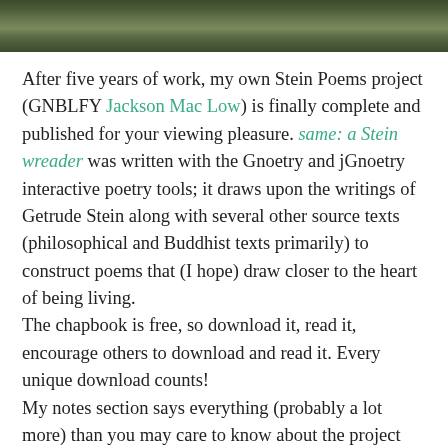[Figure (photo): A strip of a nature/foliage photograph at the top of the page, showing greenery/trees.]
After five years of work, my own Stein Poems project (GNBLFY Jackson Mac Low) is finally complete and published for your viewing pleasure. same: a Stein wreader was written with the Gnoetry and jGnoetry interactive poetry tools; it draws upon the writings of Getrude Stein along with several other source texts (philosophical and Buddhist texts primarily) to construct poems that (I hope) draw closer to the heart of being living.
The chapbook is free, so download it, read it, encourage others to download and read it. Every unique download counts!
My notes section says everything (probably a lot more) than you may care to know about the project and its inception, so I won't repeat it here.
I hope you will enjoy it and engage with it. I feel